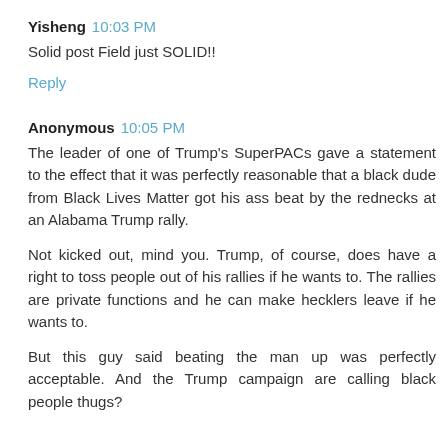Yisheng  10:03 PM
Solid post Field just SOLID!!
Reply
Anonymous  10:05 PM
The leader of one of Trump's SuperPACs gave a statement to the effect that it was perfectly reasonable that a black dude from Black Lives Matter got his ass beat by the rednecks at an Alabama Trump rally.
Not kicked out, mind you. Trump, of course, does have a right to toss people out of his rallies if he wants to. The rallies are private functions and he can make hecklers leave if he wants to.
But this guy said beating the man up was perfectly acceptable. And the Trump campaign are calling black people thugs?